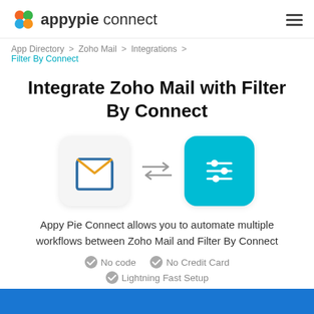appypie connect
App Directory > Zoho Mail > Integrations > Filter By Connect
Integrate Zoho Mail with Filter By Connect
[Figure (illustration): Zoho Mail icon (open envelope, blue and yellow) with bidirectional arrows pointing to Filter By Connect icon (teal settings/sliders icon)]
Appy Pie Connect allows you to automate multiple workflows between Zoho Mail and Filter By Connect
No code
No Credit Card
Lightning Fast Setup